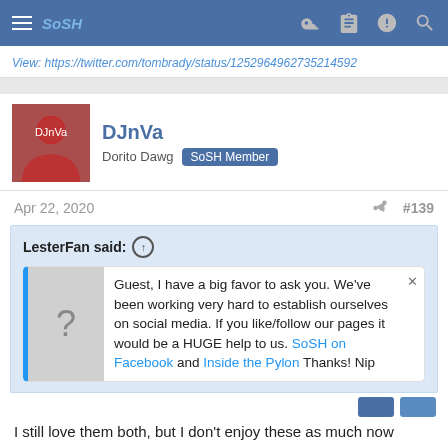SoSH
View: https://twitter.com/tombrady/status/1252964962735214592
[Figure (photo): User avatar photo of DJnVa]
DJnVa
Dorito Dawg  SoSH Member
Apr 22, 2020  #139
LesterFan said: ↑
Guest, I have a big favor to ask you. We've been working very hard to establish ourselves on social media. If you like/follow our pages it would be a HUGE help to us. SoSH on Facebook and Inside the Pylon Thanks! Nip
I still love them both, but I don't enjoy these as much now